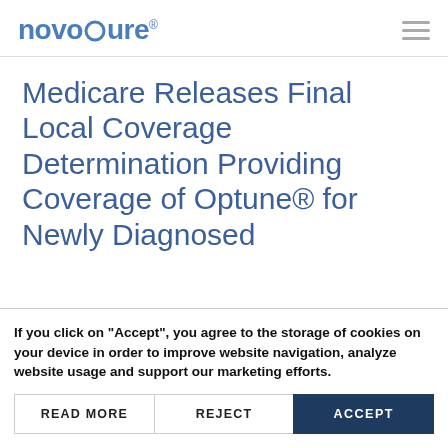novocure®
Medicare Releases Final Local Coverage Determination Providing Coverage of Optune® for Newly Diagnosed
If you click on "Accept", you agree to the storage of cookies on your device in order to improve website navigation, analyze website usage and support our marketing efforts.
READ MORE | REJECT | ACCEPT